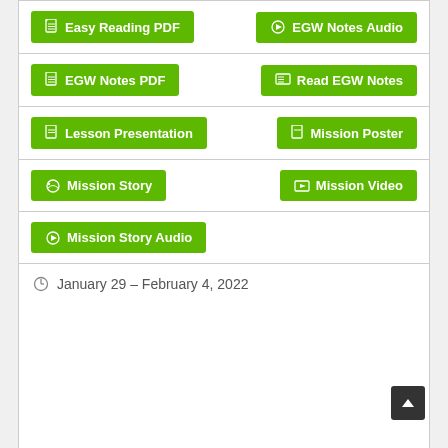Easy Reading PDF
EGW Notes Audio
EGW Notes PDF
Read EGW Notes
Lesson Presentation
Mission Poster
Mission Story
Mission Video
Mission Story Audio
January 29 – February 4, 2022